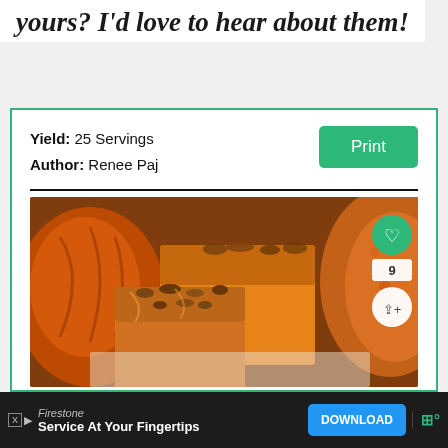yours? I'd love to hear about them!
Yield: 25 Servings
Author: Renee Paj
[Figure (photo): Photo of orange pumpkin fudge pieces topped with chopped pecans, stacked on a white surface with blurred pumpkins in the background. Green heart button showing 9 likes and a share button overlay on the image.]
Firestone
Service At Your Fingertips
DOWNLOAD